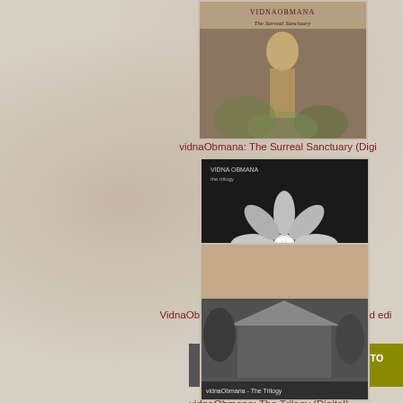[Figure (photo): Album cover for vidnaObmana: The Surreal Sanctuary, partially cropped at top of page, showing a golden/bronze statue figure]
vidnaObmana: The Surreal Sanctuary (Digi...
[Figure (photo): Album cover for VidnaObmana: The Trilogy (3CD) 2018 limited edition, black and white photo of a succulent plant with white flowers, with 'vidna obmana' text at top]
VidnaObmana: The Trilogy (3CD) (2018 limited edi...
$20.00
MORE DETAILS
ADD ITEM TO CART
[Figure (photo): Album cover for vidnaObmana: The Trilogy (Digital), showing a thatched roof building scene in black and white with text overlay]
vidnaObmana: The Trilogy (Digital)